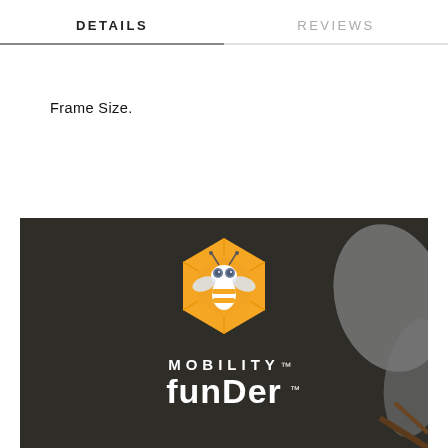DETAILS | REVIEWS
Frame Size.
[Figure (logo): Mobility Funder logo on dark background with honeycomb bee icon and text MOBILITY funder with trademark symbol]